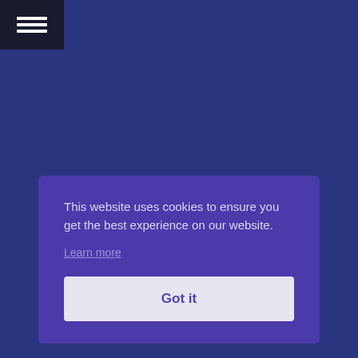[Figure (screenshot): Dark top-left navigation menu bar with three horizontal white lines (hamburger icon)]
This website uses cookies to ensure you get the best experience on our website.
Learn more
Got it